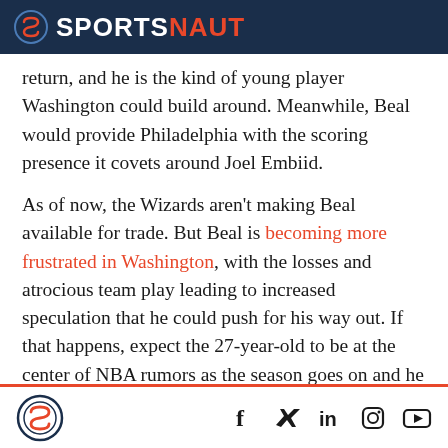SPORTSNAUT
return, and he is the kind of young player Washington could build around. Meanwhile, Beal would provide Philadelphia with the scoring presence it covets around Joel Embiid.
As of now, the Wizards aren't making Beal available for trade. But Beal is becoming more frustrated in Washington, with the losses and atrocious team play leading to increased speculation that he could push for his way out. If that happens, expect the 27-year-old to be at the center of NBA rumors as the season goes on and he could be the lone star moved before the NBA trade deadline.
Sportsnaut logo and social media icons: Facebook, Twitter, LinkedIn, Instagram, YouTube